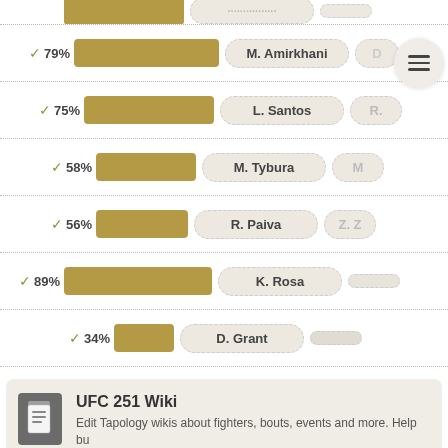✓ 79% M. Amirkhani
✓ 75% L. Santos R.
✓ 58% M. Tybura M.
✓ 56% R. Paiva Z. Z
✓ 89% K. Rosa
✓ 34% D. Grant
UFC 251 Wiki
Edit Tapology wikis about fighters, bouts, events and more. Help bu